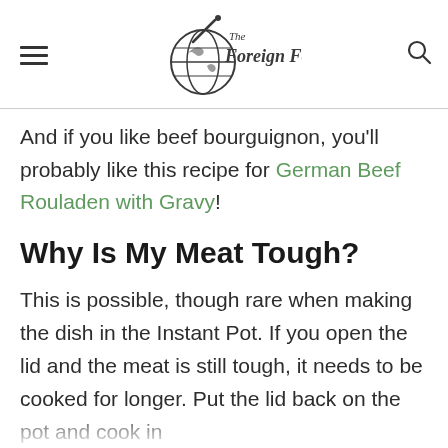The Foreign Fork
And if you like beef bourguignon, you'll probably like this recipe for German Beef Rouladen with Gravy!
Why Is My Meat Tough?
This is possible, though rare when making the dish in the Instant Pot. If you open the lid and the meat is still tough, it needs to be cooked for longer. Put the lid back on the pot and cook in